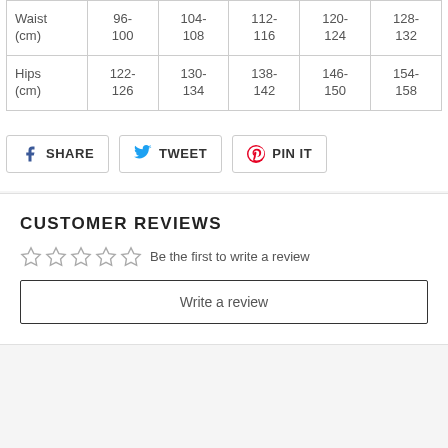|  | Col1 | Col2 | Col3 | Col4 | Col5 |
| --- | --- | --- | --- | --- | --- |
| Waist (cm) | 96-100 | 104-108 | 112-116 | 120-124 | 128-132 |
| Hips (cm) | 122-126 | 130-134 | 138-142 | 146-150 | 154-158 |
SHARE
TWEET
PIN IT
CUSTOMER REVIEWS
Be the first to write a review
Write a review